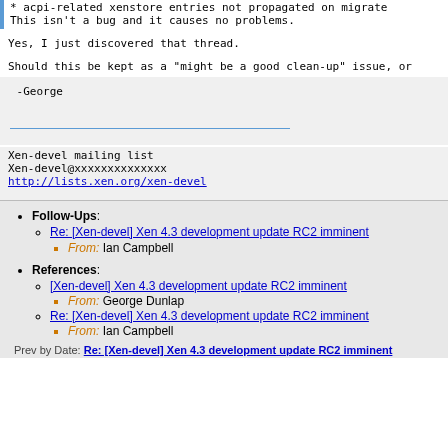* acpi-related xenstore entries not propagated on migrate
This isn't a bug and it causes no problems.
Yes, I just discovered that thread.
Should this be kept as a "might be a good clean-up" issue, or
-George
Xen-devel mailing list
Xen-devel@xxxxxxxxxxxxxx
http://lists.xen.org/xen-devel
Follow-Ups: Re: [Xen-devel] Xen 4.3 development update RC2 imminent, From: Ian Campbell
References: [Xen-devel] Xen 4.3 development update RC2 imminent, From: George Dunlap; Re: [Xen-devel] Xen 4.3 development update RC2 imminent, From: Ian Campbell
Prev by Date: Re: [Xen-devel] Xen 4.3 development update RC2 imminent